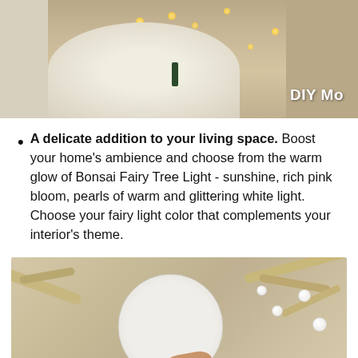[Figure (photo): Photo of a Bonsai Fairy Tree Light decoration with warm glowing lights and a reindeer figure. 'DIY Mo' watermark in the bottom right corner.]
A delicate addition to your living space. Boost your home's ambience and choose from the warm glow of Bonsai Fairy Tree Light - sunshine, rich pink bloom, pearls of warm and glittering white light. Choose your fairy light color that complements your interior's theme.
[Figure (photo): Photo showing the underside of a round white wooden base disk being held by a hand, with golden branches and pearl decorations visible in the background.]